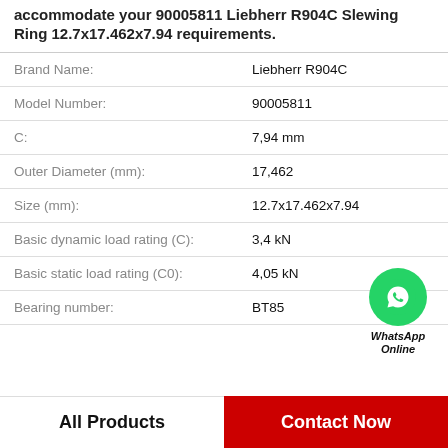accommodate your 90005811 Liebherr R904C Slewing Ring 12.7x17.462x7.94 requirements.
| Attribute | Value |
| --- | --- |
| Brand Name: | Liebherr R904C |
| Model Number: | 90005811 |
| C: | 7,94 mm |
| Outer Diameter (mm): | 17,462 |
| Size (mm): | 12.7x17.462x7.94 |
| Basic dynamic load rating (C): | 3,4 kN |
| Basic static load rating (C0): | 4,05 kN |
| Bearing number: | BT85 |
[Figure (logo): WhatsApp Online green circle icon with phone handset, label 'WhatsApp Online']
All Products   Contact Now